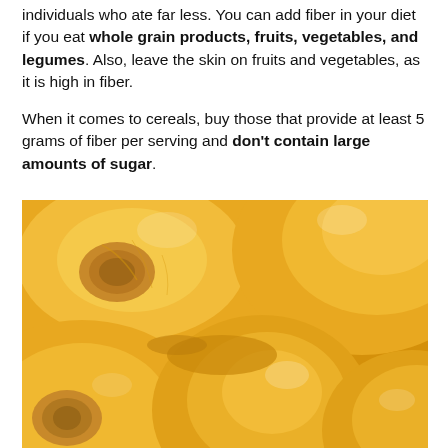individuals who ate far less. You can add fiber in your diet if you eat whole grain products, fruits, vegetables, and legumes. Also, leave the skin on fruits and vegetables, as it is high in fiber.
When it comes to cereals, buy those that provide at least 5 grams of fiber per serving and don't contain large amounts of sugar.
[Figure (photo): Close-up photo of canned peach halves in syrup, showing bright yellow-orange fruit with visible pit cavities, glistening with juice.]